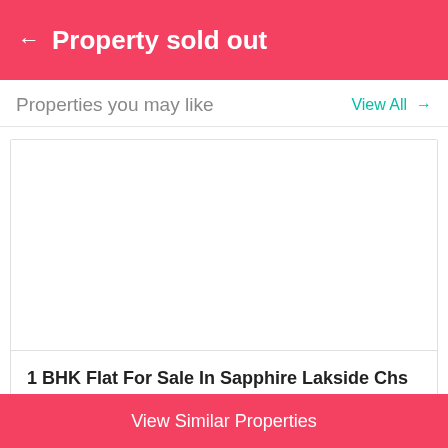← Property sold out
Properties you may like
View All →
[Figure (photo): Property listing image placeholder (blank white area)]
1 BHK Flat For Sale In Sapphire Lakside Chs In Po...
Powai, Mumbai, Maharashtra, INDIA
View Similar Properties